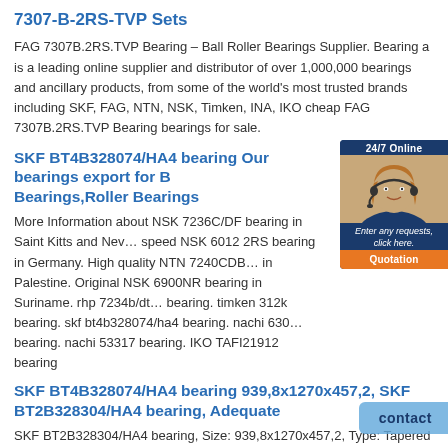7307-B-2RS-TVP Sets
FAG 7307B.2RS.TVP Bearing – Ball Roller Bearings Supplier. Bearing a is a leading online supplier and distributor of over 1,000,000 bearings and ancillary products, from some of the world's most trusted brands including SKF, FAG, NTN, NSK, Timken, INA, IKO cheap FAG 7307B.2RS.TVP Bearing bearings for sale.
SKF BT4B328074/HA4 bearing Our bearings export for B… Bearings,Roller Bearings
[Figure (photo): 24/7 Online customer service widget showing a woman with headset, with 'Enter any requests, click here.' caption and 'Quotation' button]
More Information about NSK 7236C/DF bearing in Saint Kitts and Nev… speed NSK 6012 2RS bearing in Germany. High quality NTN 7240CDB… in Palestine. Original NSK 6900NR bearing in Suriname. rhp 7234b/dt… bearing. timken 312k bearing. skf bt4b328074/ha4 bearing. nachi 630… bearing. nachi 53317 bearing. IKO TAFI21912 bearing
SKF BT4B328074/HA4 bearing 939,8x1270x457,2, SKF BT2B328304/HA4 bearing, Adequate
SKF BT2B328304/HA4 bearing, Size: 939,8x1270x457,2, Type: Tapered Roller Bearing. SKF BT2B328304/HA4 Trade Safer and Easier,SKF BT2B328304/HA4 More advantage,SKF BT2B328304/HA4 Adequate stocks, NTN BEARING P/N. SKF double row tapered roller bearings, BT2B 332754 BT2B 332767 A 331606 A BT2B 332493/HA4 BT2B 328020 613328 A BT2B 332823/HA1 BT2B
[Figure (other): Contact button overlay in light blue]
…